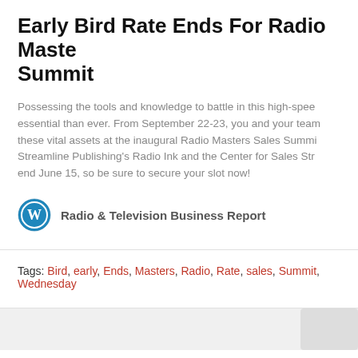Early Bird Rate Ends For Radio Masters Summit
Possessing the tools and knowledge to battle in this high-speed environment is more essential than ever. From September 22-23, you and your team can acquire these vital assets at the inaugural Radio Masters Sales Summit, presented by Streamline Publishing's Radio Ink and the Center for Sales Strategy. Early bird rates end June 15, so be sure to secure your slot now!
Radio & Television Business Report
Tags: Bird, early, Ends, Masters, Radio, Rate, sales, Summit, Wednesday
Three Ways To Successfully Start A Business And Build Revenue